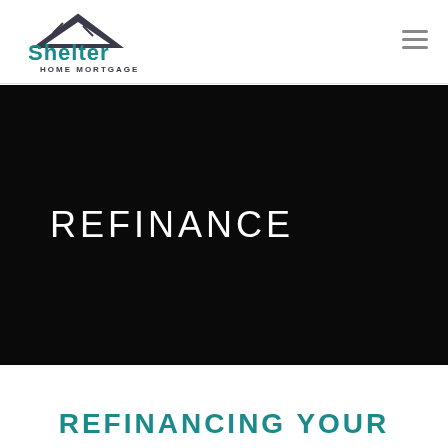Shelter Home Mortgage
REFINANCE
REFINANCING YOUR